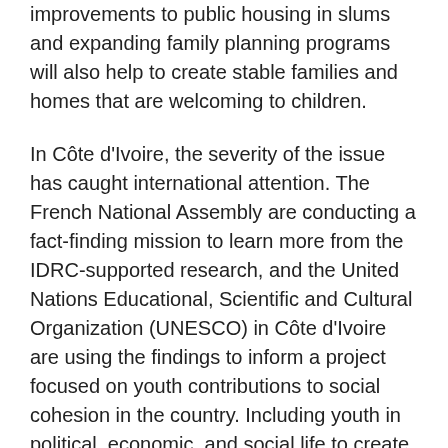improvements to public housing in slums and expanding family planning programs will also help to create stable families and homes that are welcoming to children.
In Côte d'Ivoire, the severity of the issue has caught international attention. The French National Assembly are conducting a fact-finding mission to learn more from the IDRC-supported research, and the United Nations Educational, Scientific and Cultural Organization (UNESCO) in Côte d'Ivoire are using the findings to inform a project focused on youth contributions to social cohesion in the country. Including youth in political, economic, and social life to create a sense of community will be key to mitigate the allure of gangs for youth.
Related projects